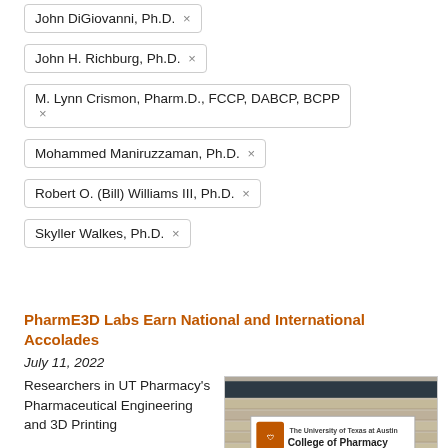John DiGiovanni, Ph.D. ×
John H. Richburg, Ph.D. ×
M. Lynn Crismon, Pharm.D., FCCP, DABCP, BCPP ×
Mohammed Maniruzzaman, Ph.D. ×
Robert O. (Bill) Williams III, Ph.D. ×
Skyller Walkes, Ph.D. ×
PharmE3D Labs Earn National and International Accolades
July 11, 2022
Researchers in UT Pharmacy's Pharmaceutical Engineering and 3D Printing
[Figure (photo): Exterior sign of The University of Texas at Austin College of Pharmacy building]